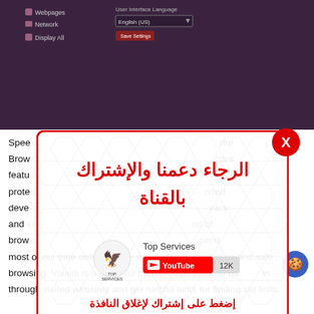[Figure (screenshot): Dark purple settings UI showing menu items (Webpages, Network, Display All) and User Interface Language dropdown set to English (US) with a save button]
Speed ... erful Browser ... ctive features ... vacy protection ... nced developed ... vacy, and ... ns of browsing ... pend most of our time online, so we need privacy protection and safe browsing. Vivaldi is a powerful browser that you can quickly navigate in through visited websites and get helpful hints for finding old links.
[Figure (infographic): Popup overlay with red border on hexagon background. Arabic text reading 'الرجاء دعمنا والإشتراك بالقناة' (Please support us and subscribe to the channel). Shows Top Services YouTube channel logo and subscribe button with 12K subscribers. Arabic text at bottom: 'إضغط على إشتراك لإغلاق النافذة' (Click subscribe to close the window). Red X close button in top right.]